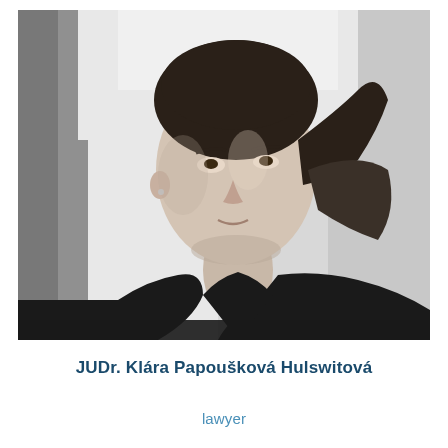[Figure (photo): Black and white professional portrait photograph of JUDr. Klára Papoušková Hulswitová, a woman with dark hair pulled back, wearing a dark top, looking slightly upward and to the side, photographed against a light background.]
JUDr. Klára Papoušková Hulswitová
lawyer